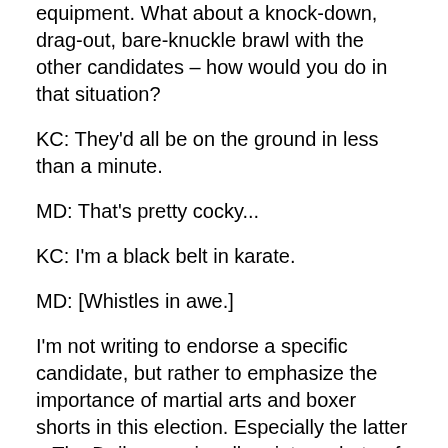equipment. What about a knock-down, drag-out, bare-knuckle brawl with the other candidates – how would you do in that situation?
KC: They'd all be on the ground in less than a minute.
MD: That's pretty cocky...
KC: I'm a black belt in karate.
MD: [Whistles in awe.]
I'm not writing to endorse a specific candidate, but rather to emphasize the importance of martial arts and boxer shorts in this election. Especially the latter – The Daily occasionally prints a photo of a certain SSMU executive without pants. This year, let's pick one who doesn't wear a thong.
Personal Declaration and brilliant strategy...